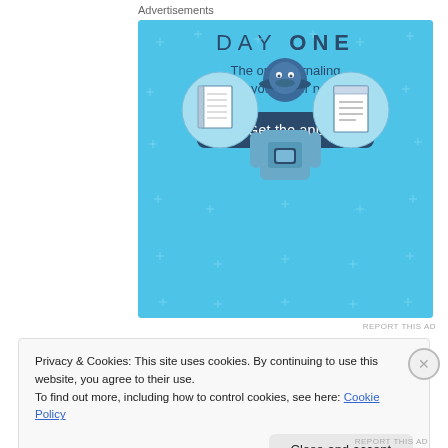Advertisements
[Figure (illustration): Day One journaling app advertisement banner. Light blue background with sparkle decorations. Three circular icons showing a notebook, a person using a phone, and a notepad. Text reads DAY ONE - The only journaling app you'll ever need. Dark blue 'Get the app' button.]
REPORT THIS AD
Privacy & Cookies: This site uses cookies. By continuing to use this website, you agree to their use.
To find out more, including how to control cookies, see here: Cookie Policy
Close and accept